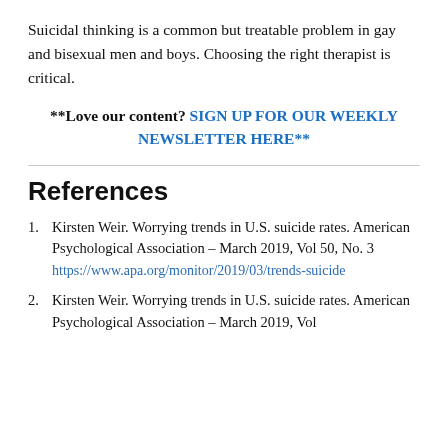Suicidal thinking is a common but treatable problem in gay and bisexual men and boys. Choosing the right therapist is critical.
**Love our content? SIGN UP FOR OUR WEEKLY NEWSLETTER HERE**
References
1. Kirsten Weir. Worrying trends in U.S. suicide rates. American Psychological Association – March 2019, Vol 50, No. 3 https://www.apa.org/monitor/2019/03/trends-suicide
2. Kirsten Weir. Worrying trends in U.S. suicide rates. American Psychological Association – March 2019, Vol